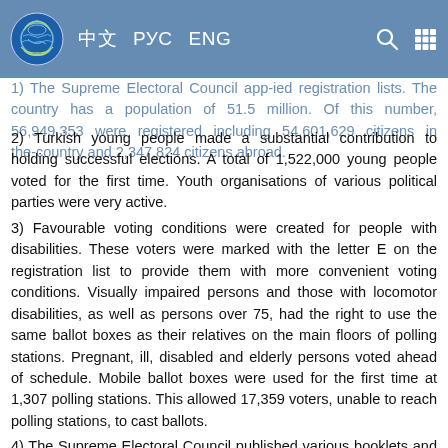中文  РУС  ENG
1) The Supreme Electoral Council app-ied registration lists. The country has a population of 51.5 million. Of this number, 56,949,353 were registered including 54,601,629 citizens in the country and 2,347,824 citizens abroad.
2) Turkish young people made a substantial contribution to holding successful elections. A total of 1,522,000 young people voted for the first time. Youth organisations of various political parties were very active.
3) Favourable voting conditions were created for people with disabilities. These voters were marked with the letter E on the registration list to provide them with more convenient voting conditions. Visually impaired persons and those with locomotor disabilities, as well as persons over 75, had the right to use the same ballot boxes as their relatives on the main floors of polling stations. Pregnant, ill, disabled and elderly persons voted ahead of schedule. Mobile ballot boxes were used for the first time at 1,307 polling stations. This allowed 17,359 voters, unable to reach polling stations, to cast ballots.
4) The Supreme Electoral Council published various booklets and instructions of additional information to election bodies, presidential candidates and members of parliament, international and local observers and all other parties